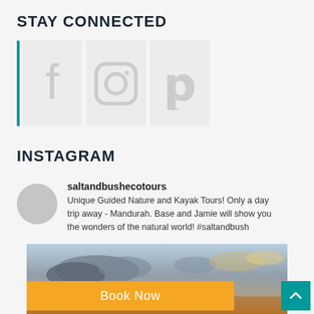STAY CONNECTED
[Figure (infographic): Three social media icon boxes (Facebook, Instagram, Pinterest) with a teal left border bar]
INSTAGRAM
saltandbushecotours
Unique Guided Nature and Kayak Tours! Only a day trip away - Mandurah. Base and Jamie will show you the wonders of the natural world! #saltandbush
[Figure (photo): Outdoor sky photo with clouds and warm sunset tones at the bottom]
Book Now